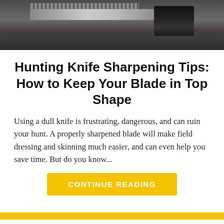[Figure (photo): A hunting knife with serrated blade and dark handle resting on a wooden surface, photographed from above.]
Hunting Knife Sharpening Tips: How to Keep Your Blade in Top Shape
Using a dull knife is frustrating, dangerous, and can ruin your hunt. A properly sharpened blade will make field dressing and skinning much easier, and can even help you save time. But do you know...
CONTINUE READING
[Figure (other): A yellow horizontal bar separator]
Search